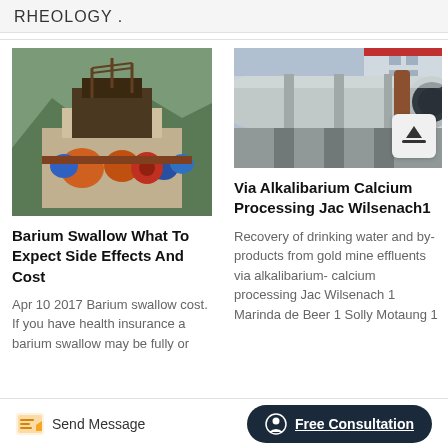RHEOLOGY .
[Figure (photo): Industrial mining/crushing equipment with orange and blue machinery, conveyors, and green forested hillside in background]
Barium Swallow What To Expect Side Effects And Cost
Apr 10 2017 Barium swallow cost. If you have health insurance a barium swallow may be fully or
[Figure (photo): Large industrial rotary pipe/drum equipment on outdoor platform with building in background]
Via Alkalibarium Calcium Processing Jac Wilsenach1
Recovery of drinking water and by-products from gold mine effluents via alkalibarium- calcium processing Jac Wilsenach 1 Marinda de Beer 1 Solly Motaung 1
Send Message   Free Consultation